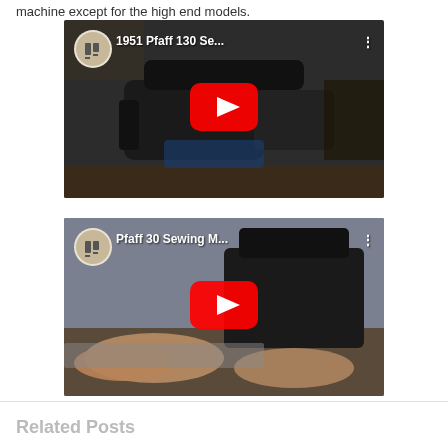machine except for the high end models.
[Figure (screenshot): YouTube video thumbnail for '1951 Pfaff 130 Se...' showing a vintage sewing machine with a red YouTube play button overlay]
[Figure (screenshot): YouTube video thumbnail for 'Pfaff 30 Sewing M...' showing a person using a sewing machine with a red YouTube play button overlay]
Related Posts